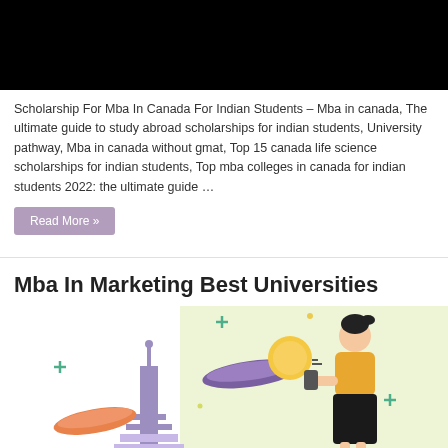[Figure (photo): Black image banner at top of article card]
Scholarship For Mba In Canada For Indian Students – Mba in canada, The ultimate guide to study abroad scholarships for indian students, University pathway, Mba in canada without gmat, Top 15 canada life science scholarships for indian students, Top mba colleges in canada for indian students 2022: the ultimate guide …
Read More »
Mba In Marketing Best Universities
[Figure (illustration): Colorful illustration showing a woman holding a phone, a tower/antenna structure, decorative wavy shapes and sparkles, on a light yellow-green background]